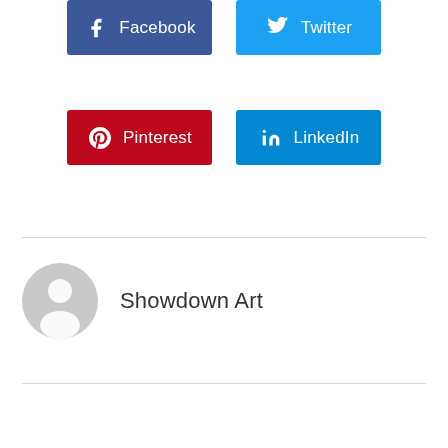[Figure (other): Facebook social share button (dark blue) with Facebook icon and text 'Facebook']
[Figure (other): Twitter social share button (light blue) with Twitter bird icon and text 'Twitter']
[Figure (other): Pinterest social share button (red) with Pinterest icon and text 'Pinterest']
[Figure (other): LinkedIn social share button (blue) with LinkedIn icon and text 'LinkedIn']
[Figure (other): Author avatar placeholder (grey silhouette person icon)]
Showdown Art